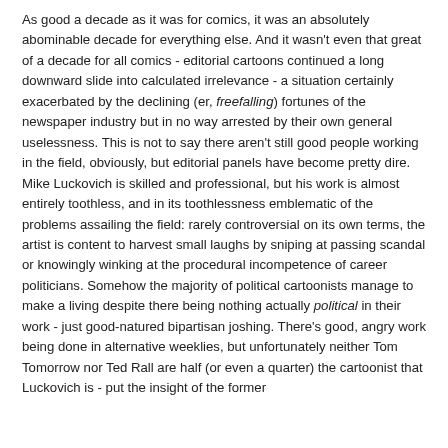As good a decade as it was for comics, it was an absolutely abominable decade for everything else. And it wasn't even that great of a decade for all comics - editorial cartoons continued a long downward slide into calculated irrelevance - a situation certainly exacerbated by the declining (er, freefalling) fortunes of the newspaper industry but in no way arrested by their own general uselessness. This is not to say there aren't still good people working in the field, obviously, but editorial panels have become pretty dire. Mike Luckovich is skilled and professional, but his work is almost entirely toothless, and in its toothlessness emblematic of the problems assailing the field: rarely controversial on its own terms, the artist is content to harvest small laughs by sniping at passing scandal or knowingly winking at the procedural incompetence of career politicians. Somehow the majority of political cartoonists manage to make a living despite there being nothing actually political in their work - just good-natured bipartisan joshing. There's good, angry work being done in alternative weeklies, but unfortunately neither Tom Tomorrow nor Ted Rall are half (or even a quarter) the cartoonist that Luckovich is - put the insight of the former